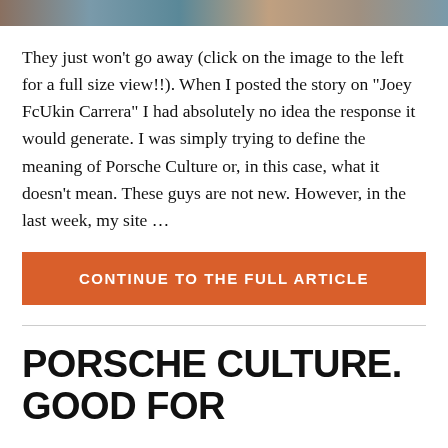[Figure (photo): Partial photo strip at top of page showing people, cropped]
They just won't go away (click on the image to the left for a full size view!!). When I posted the story on “Joey FcUkin Carrera” I had absolutely no idea the response it would generate. I was simply trying to define the meaning of Porsche Culture or, in this case, what it doesn’t mean. These guys are not new. However, in the last week, my site …
CONTINUE TO THE FULL ARTICLE
PORSCHE CULTURE. GOOD FOR